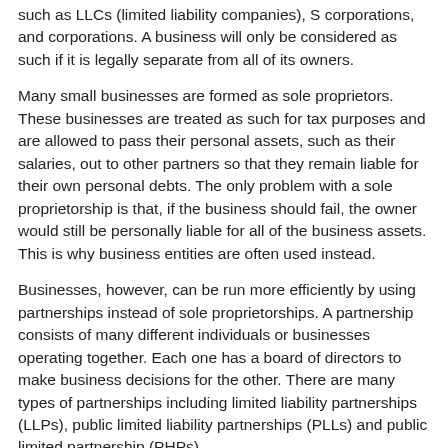such as LLCs (limited liability companies), S corporations, and corporations. A business will only be considered as such if it is legally separate from all of its owners.
Many small businesses are formed as sole proprietors. These businesses are treated as such for tax purposes and are allowed to pass their personal assets, such as their salaries, out to other partners so that they remain liable for their own personal debts. The only problem with a sole proprietorship is that, if the business should fail, the owner would still be personally liable for all of the business assets. This is why business entities are often used instead.
Businesses, however, can be run more efficiently by using partnerships instead of sole proprietorships. A partnership consists of many different individuals or businesses operating together. Each one has a board of directors to make business decisions for the other. There are many types of partnerships including limited liability partnerships (LLPs), public limited liability partnerships (PLLs) and public limited partnership (PHPs).